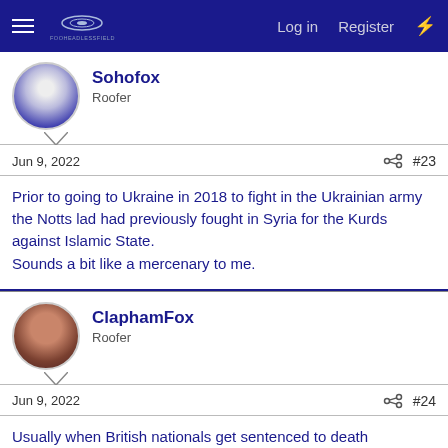Log in  Register
Sohofox
Roofer
Jun 9, 2022  #23
Prior to going to Ukraine in 2018 to fight in the Ukrainian army the Notts lad had previously fought in Syria for the Kurds against Islamic State.
Sounds a bit like a mercenary to me.
ClaphamFox
Roofer
Jun 9, 2022  #24
Usually when British nationals get sentenced to death overseas, there's a reasonable hope that diplomatic efforts will get the sentences commuted to a prison term. I'm not so sure in this